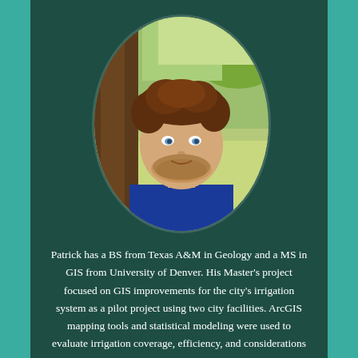[Figure (photo): Oval-cropped headshot of a young man with curly brown hair and a beard, wearing a blue shirt, photographed outdoors near a lake with trees in the background.]
Patrick has a BS from Texas A&M in Geology and a MS in GIS from University of Denver. His Master's project focused on GIS improvements for the city's irrigation system as a pilot project using two city facilities. ArcGIS mapping tools and statistical modeling were used to evaluate irrigation coverage, efficiency, and considerations for